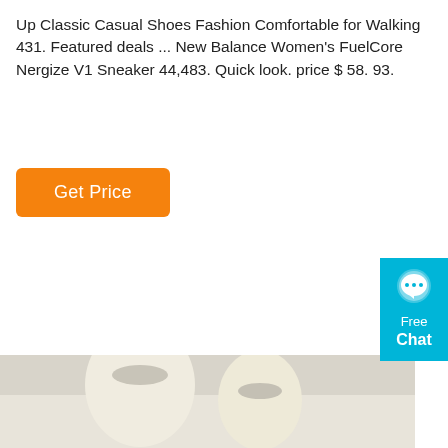Up Classic Casual Shoes Fashion Comfortable for Walking 431. Featured deals ... New Balance Women's FuelCore Nergize V1 Sneaker 44,483. Quick look. price $ 58. 93.
[Figure (other): Orange 'Get Price' button]
[Figure (other): Cyan/teal live chat widget with speech bubble icon, text 'Free Chat']
[Figure (photo): Product photo showing two cream/off-white drawstring bags of different sizes on a light grey background]